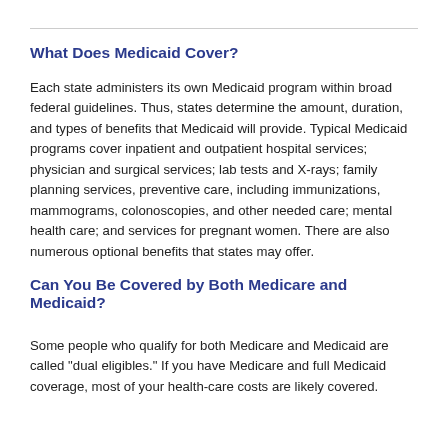What Does Medicaid Cover?
Each state administers its own Medicaid program within broad federal guidelines. Thus, states determine the amount, duration, and types of benefits that Medicaid will provide. Typical Medicaid programs cover inpatient and outpatient hospital services; physician and surgical services; lab tests and X-rays; family planning services, preventive care, including immunizations, mammograms, colonoscopies, and other needed care; mental health care; and services for pregnant women. There are also numerous optional benefits that states may offer.
Can You Be Covered by Both Medicare and Medicaid?
Some people who qualify for both Medicare and Medicaid are called "dual eligibles." If you have Medicare and full Medicaid coverage, most of your health-care costs are likely covered.